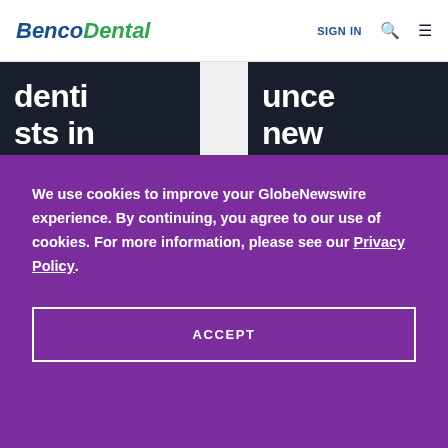BencoDental | SIGN IN
dentists in
unce new
We use cookies to improve your GlobeNewswire experience. By continuing, you agree to our use of cookies. For more information, please see our Privacy Policy.
ACCEPT